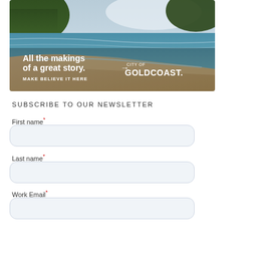[Figure (photo): Aerial coastal beach photo with overlaid text 'All the makings of a great story. MAKE BELIEVE IT HERE' and City of Gold Coast logo]
SUBSCRIBE TO OUR NEWSLETTER
First name*
Last name*
Work Email*